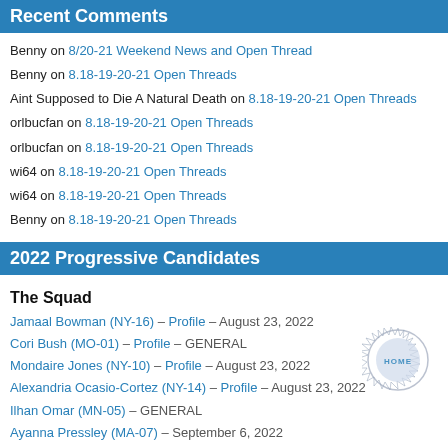Recent Comments
Benny on 8/20-21 Weekend News and Open Thread
Benny on 8.18-19-20-21 Open Threads
Aint Supposed to Die A Natural Death on 8.18-19-20-21 Open Threads
orlbucfan on 8.18-19-20-21 Open Threads
orlbucfan on 8.18-19-20-21 Open Threads
wi64 on 8.18-19-20-21 Open Threads
wi64 on 8.18-19-20-21 Open Threads
Benny on 8.18-19-20-21 Open Threads
2022 Progressive Candidates
The Squad
Jamaal Bowman (NY-16) – Profile – August 23, 2022
Cori Bush (MO-01) – Profile – GENERAL
Mondaire Jones (NY-10) – Profile – August 23, 2022
Alexandria Ocasio-Cortez (NY-14) – Profile – August 23, 2022
Ilhan Omar (MN-05) – GENERAL
Ayanna Pressley (MA-07) – September 6, 2022
Rashida Tlaib (MI-12) – Profile – GENERAL